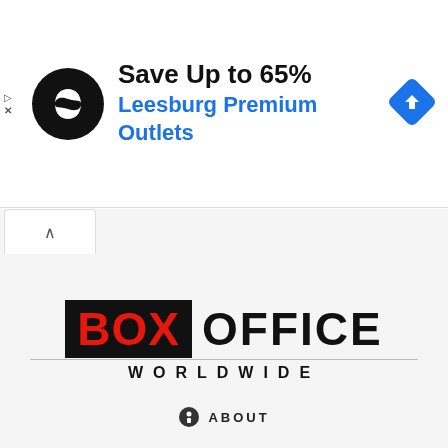[Figure (infographic): Advertisement banner: circular black logo with infinity-like symbol, headline 'Save Up to 65%', subtext 'Leesburg Premium Outlets' in blue, blue diamond navigation icon on the right]
[Figure (infographic): Browser tab bar with chevron up icon and a tab]
[Figure (logo): Box Office Worldwide logo: black rectangle with red BOX text, black OFFICE text, WORLDWIDE in spaced capitals below]
ABOUT